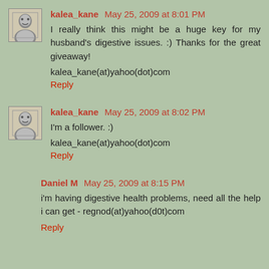kalea_kane May 25, 2009 at 8:01 PM
I really think this might be a huge key for my husband's digestive issues. :) Thanks for the great giveaway!
kalea_kane(at)yahoo(dot)com
Reply
kalea_kane May 25, 2009 at 8:02 PM
I'm a follower. :)
kalea_kane(at)yahoo(dot)com
Reply
Daniel M May 25, 2009 at 8:15 PM
i'm having digestive health problems, need all the help i can get - regnod(at)yahoo(d0t)com
Reply